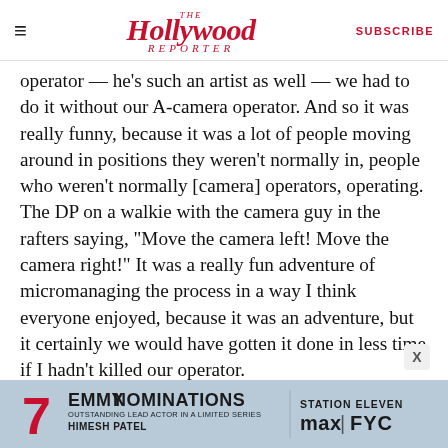The Hollywood Reporter | SUBSCRIBE
operator — he's such an artist as well — we had to do it without our A-camera operator. And so it was really funny, because it was a lot of people moving around in positions they weren't normally in, people who weren't normally [camera] operators, operating. The DP on a walkie with the camera guy in the rafters saying, "Move the camera left! Move the camera right!" It was a really fun adventure of micromanaging the process in a way I think everyone enjoyed, because it was an adventure, but it certainly we would have gotten it done in less time if I hadn't killed our operator.
[Figure (infographic): Advertisement banner: '7 EMMY NOMINATIONS — STATION ELEVEN — OUTSTANDING LEAD ACTOR IN A LIMITED SERIES — HIMESH PATEL — max | FYC']